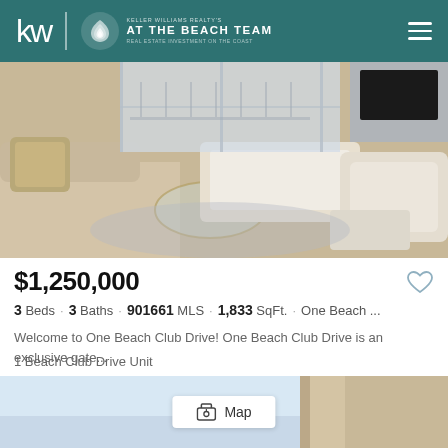KW | AT THE BEACH TEAM — Keller Williams Realty's Real Estate Investment on the Coast
[Figure (photo): Interior living room photo showing white upholstered sofas, decorative pillows, a glass coffee table with gold frame, white armchairs, and large windows letting in natural light. Neutral beach-house aesthetic.]
$1,250,000
3 Beds · 3 Baths · 901661 MLS · 1,833 SqFt. · One Beach ...
Welcome to One Beach Club Drive! One Beach Club Drive is an exclusive gate...
1 Beach Club Drive Unit
#UNIT 302, Miramar Beach
Listing courtesy of Mainsail Realty Company.
[Figure (photo): Partial exterior/architectural photo showing blue sky and a structural column or building detail at the bottom of the page, with a Map button overlay.]